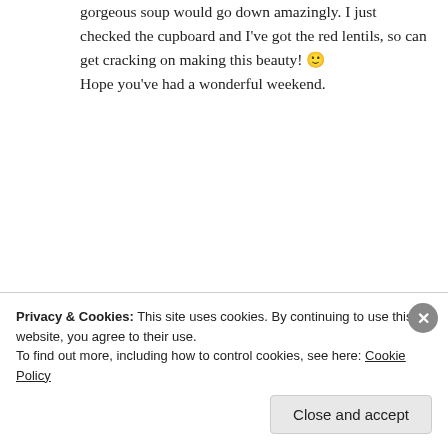gorgeous soup would go down amazingly. I just checked the cupboard and I've got the red lentils, so can get cracking on making this beauty! 🙂 Hope you've had a wonderful weekend.
★ Like
REPLY
[Figure (photo): Circular avatar profile photo with colorful pattern]
plateduiour
Privacy & Cookies: This site uses cookies. By continuing to use this website, you agree to their use. To find out more, including how to control cookies, see here: Cookie Policy
Close and accept